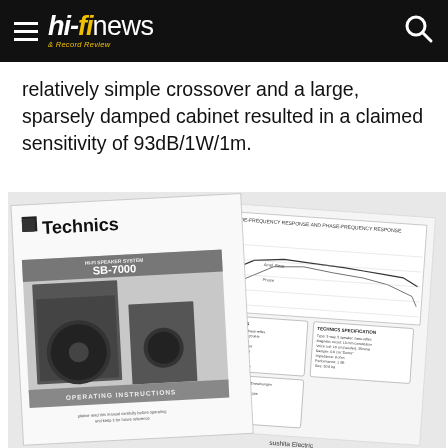hi-fi news & Record Review
relatively simple crossover and a large, sparsely damped cabinet resulted in a claimed sensitivity of 93dB/1W/1m.
[Figure (photo): Photo of Technics SB-7000 Hi-Fi Speaker System operating instructions manual pages, showing the speaker system, frequency response charts, and specifications. The manual cover shows the Technics logo and 'SB-7000 HI-FI SPEAKER SYSTEM OPERATING INSTRUCTIONS'. Behind it is a data sheet with amplitude-frequency response and phase-frequency response graphs and specifications. At the bottom: 'sushita Electric, Ants Electric Trading Co., Ltd., Control Donut']